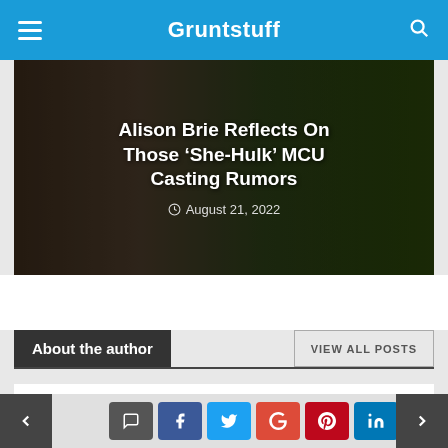Gruntstuff
[Figure (photo): Article thumbnail showing Alison Brie and She-Hulk MCU casting rumors, dated August 21, 2022]
Alison Brie Reflects On Those ‘She-Hulk’ MCU Casting Rumors
August 21, 2022
About the author
VIEW ALL POSTS
Tina Sanders
Tina is the mind behind Gruntstuff.com, and she ideated it when she was